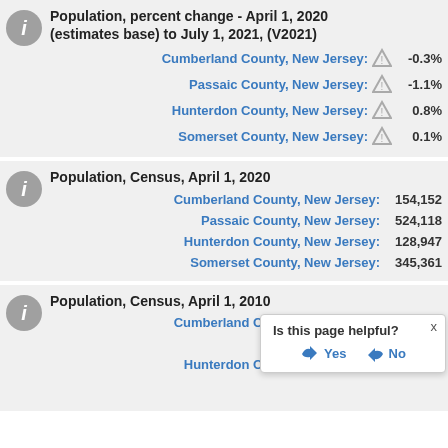Population, percent change - April 1, 2020 (estimates base) to July 1, 2021, (V2021)
Cumberland County, New Jersey: -0.3%
Passaic County, New Jersey: -1.1%
Hunterdon County, New Jersey: 0.8%
Somerset County, New Jersey: 0.1%
Population, Census, April 1, 2020
Cumberland County, New Jersey: 154,152
Passaic County, New Jersey: 524,118
Hunterdon County, New Jersey: 128,947
Somerset County, New Jersey: 345,361
Population, Census, April 1, 2010
Cumberland County, New Jersey: 156,898
Passaic County, New Jersey: (partially visible)
Hunterdon County, New Jersey: (partially visible)